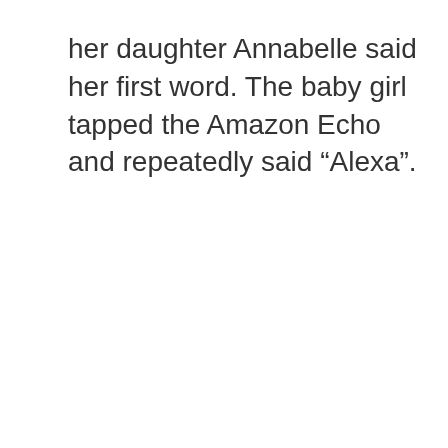her daughter Annabelle said her first word. The baby girl tapped the Amazon Echo and repeatedly said “Alexa”.